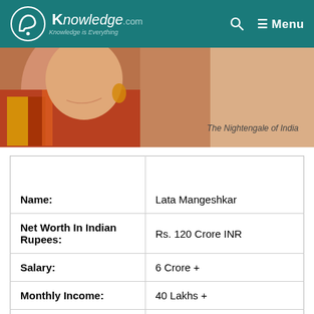A Knowledge.com — Knowledge is Everything | Menu
[Figure (photo): Close-up photo of Lata Mangeshkar, labelled 'The Nightengale of India']
| Net Worth: | $16 Million |
| --- | --- |
| Name: | Lata Mangeshkar |
| Net Worth In Indian Rupees: | Rs. 120 Crore INR |
| Salary: | 6 Crore + |
| Monthly Income: | 40 Lakhs + |
| Date of Birth: | September 28, 1929 |